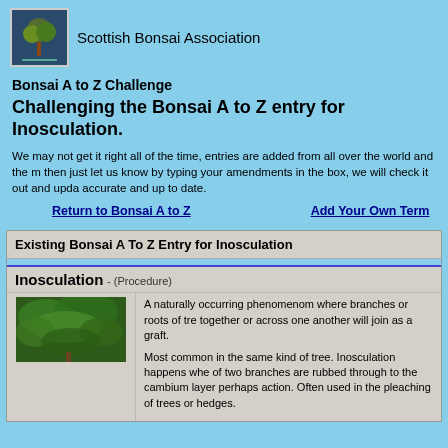Scottish Bonsai Association
Bonsai A to Z Challenge
Challenging the Bonsai A to Z entry for Inosculation.
We may not get it right all of the time, entries are added from all over the world and the m then just let us know by typing your amendments in the box, we will check it out and upda accurate and up to date.
Return to Bonsai A to Z    Add Your Own Term
Existing Bonsai A To Z Entry for Inosculation
Inosculation - (Procedure)
[Figure (photo): Green leafy tree branches photograph]
A naturally occurring phenomenom where branches or roots of tre together or across one another will join as a graft.

Most common in the same kind of tree. Inosculation happens whe of two branches are rubbed through to the cambium layer perhaps action. Often used in the pleaching of trees or hedges.